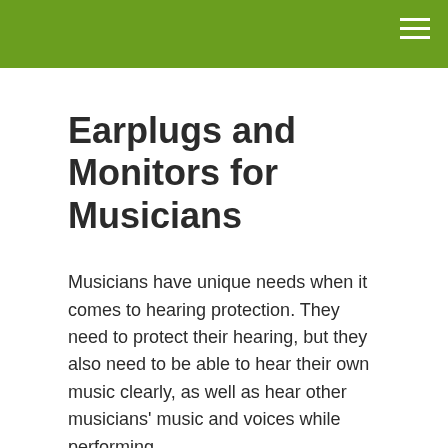Earplugs and Monitors for Musicians
Musicians have unique needs when it comes to hearing protection. They need to protect their hearing, but they also need to be able to hear their own music clearly, as well as hear other musicians' music and voices while performing.
Conventional store-bought earplugs are great at providing hearing protection. However, they often provide too much protection for musicians, muffling speech and sound in the process. They make music and voices very unclear and unnatural to listen to. While